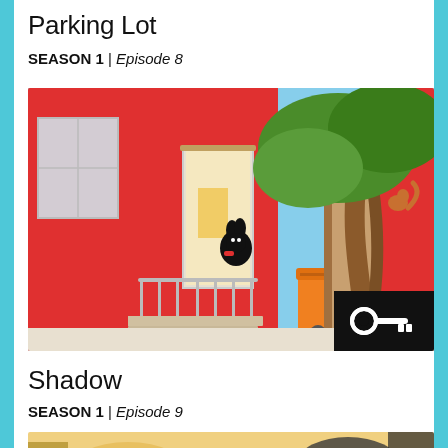Parking Lot
SEASON 1 | Episode 8
[Figure (screenshot): Animated scene showing a black bunny character (Bing) walking out of a red building entrance with stairs, an orange wheelie bin, a tree with a squirrel, and a key icon overlay in the bottom-right corner.]
Shadow
SEASON 1 | Episode 9
[Figure (screenshot): Partial animated scene visible at the bottom of the page showing warm-toned interior scene.]